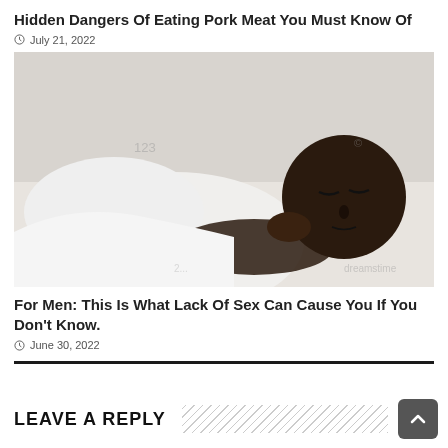Hidden Dangers Of Eating Pork Meat You Must Know Of
July 21, 2022
[Figure (photo): Man lying on bed with eyes closed, resting on his hand, wearing white shirt, stock photo]
For Men: This Is What Lack Of Sex Can Cause You If You Don’t Know.
June 30, 2022
LEAVE A REPLY